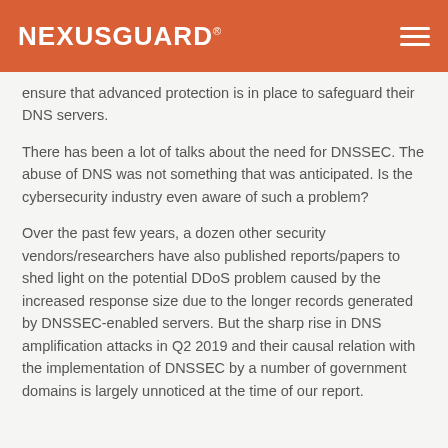NEXUSGUARD
ensure that advanced protection is in place to safeguard their DNS servers.
There has been a lot of talks about the need for DNSSEC. The abuse of DNS was not something that was anticipated. Is the cybersecurity industry even aware of such a problem?
Over the past few years, a dozen other security vendors/researchers have also published reports/papers to shed light on the potential DDoS problem caused by the increased response size due to the longer records generated by DNSSEC-enabled servers. But the sharp rise in DNS amplification attacks in Q2 2019 and their causal relation with the implementation of DNSSEC by a number of government domains is largely unnoticed at the time of our report.